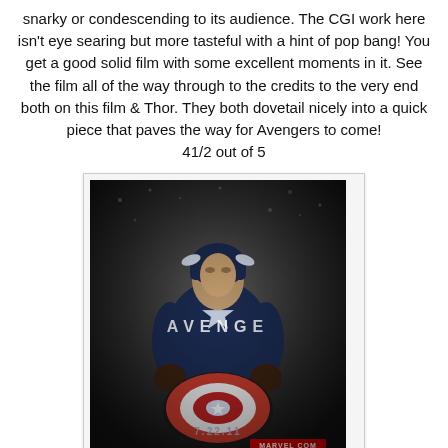snarky or condescending to its audience. The CGI work here isn't eye searing but more tasteful with a hint of pop bang! You get a good solid film with some excellent moments in it. See the film all of the way through to the credits to the very end both on this film & Thor. They both dovetail nicely into a quick piece that paves the way for Avengers to come! 41/2 out of 5
[Figure (photo): Captain America: The First Avenger movie poster showing Captain America in full costume holding his shield, with the word AVENGE across the middle and date 7.22.11 at the bottom along with Marvel.com branding]